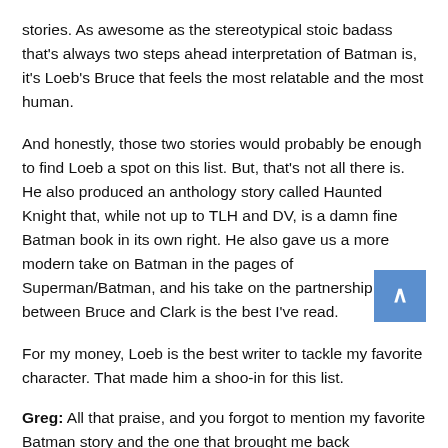stories. As awesome as the stereotypical stoic badass that's always two steps ahead interpretation of Batman is, it's Loeb's Bruce that feels the most relatable and the most human.
And honestly, those two stories would probably be enough to find Loeb a spot on this list. But, that's not all there is. He also produced an anthology story called Haunted Knight that, while not up to TLH and DV, is a damn fine Batman book in its own right. He also gave us a more modern take on Batman in the pages of Superman/Batman, and his take on the partnership between Bruce and Clark is the best I've read.
For my money, Loeb is the best writer to tackle my favorite character. That made him a shoo-in for this list.
Greg: All that praise, and you forgot to mention my favorite Batman story and the one that brought me back